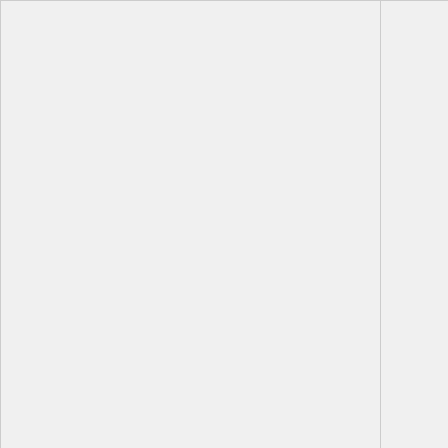| Name | Type | Default | Description |
| --- | --- | --- | --- |
|  |  |  |  |
| html | boolean | false |  |